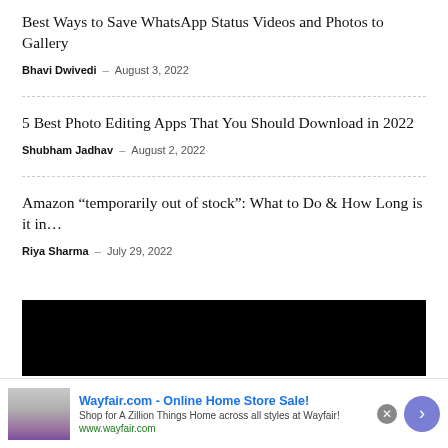Best Ways to Save WhatsApp Status Videos and Photos to Gallery
Bhavi Dwivedi – August 3, 2022
5 Best Photo Editing Apps That You Should Download in 2022
Shubham Jadhav – August 2, 2022
Amazon “temporarily out of stock”: What to Do & How Long is it in…
Riya Sharma – July 29, 2022
[Figure (other): Black rectangle placeholder image]
Wayfair.com - Online Home Store Sale! Shop for A Zillion Things Home across all styles at Wayfair! www.wayfair.com